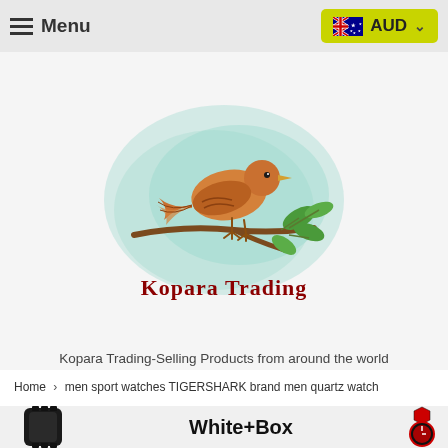Menu | AUD
[Figure (logo): Kopara Trading logo: illustrated bird perched on a branch with green leaves, watercolor style background in blue-green. Text 'Kopara Trading' in dark red serif font below.]
Kopara Trading-Selling Products from around the world
Home > men sport watches TIGERSHARK brand men quartz watch
[Figure (photo): Product strip showing a black sport watch on the left, 'White+Box' text label in the center, and a red/black sport watch with shield logo on the right.]